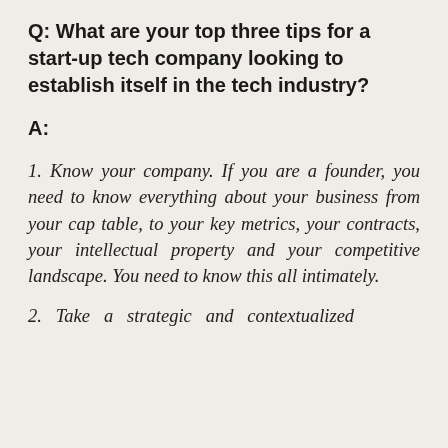Q: What are your top three tips for a start-up tech company looking to establish itself in the tech industry?
A:
1. Know your company. If you are a founder, you need to know everything about your business from your cap table, to your key metrics, your contracts, your intellectual property and your competitive landscape. You need to know this all intimately.
2. Take a strategic and contextualized